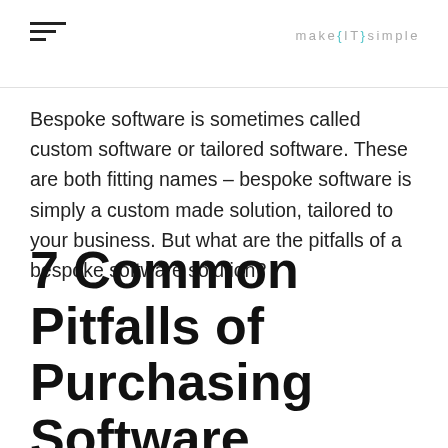make{IT}simple
Bespoke software is sometimes called custom software or tailored software. These are both fitting names – bespoke software is simply a custom made solution, tailored to your business. But what are the pitfalls of a bespoke software solution?
7 Common Pitfalls of Purchasing Software Solutions (and how to avoid them):